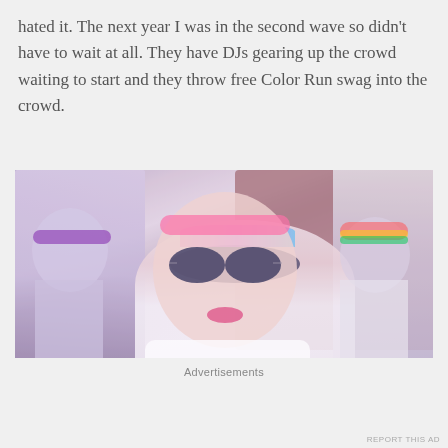hated it. The next year I was in the second wave so didn't have to wait at all. They have DJs gearing up the crowd waiting to start and they throw free Color Run swag into the crowd.
[Figure (photo): A smiling woman wearing sunglasses, a colorful headband, and a white shirt at a Color Run event. She is surrounded by other participants in white shirts. A brick building is visible in the background.]
Advertisements